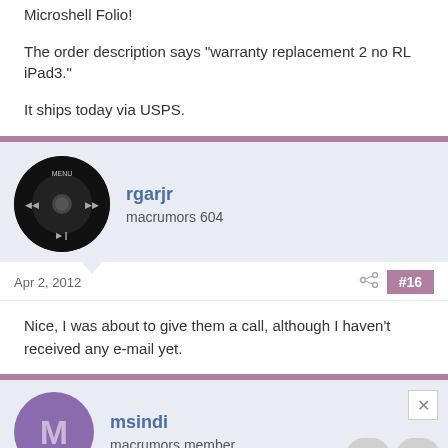Microshell Folio!
The order description says "warranty replacement 2 no RL iPad3."
It ships today via USPS.
rgarjr
macrumors 604
Apr 2, 2012
#16
Nice, I was about to give them a call, although I haven't received any e-mail yet.
msindi
macrumors member